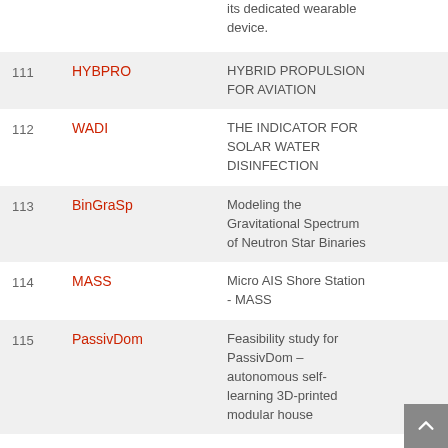| # | Code | Title |
| --- | --- | --- |
|  |  | its dedicated wearable device. |
| 111 | HYBPRO | HYBRID PROPULSION FOR AVIATION |
| 112 | WADI | THE INDICATOR FOR SOLAR WATER DISINFECTION |
| 113 | BinGraSp | Modeling the Gravitational Spectrum of Neutron Star Binaries |
| 114 | MASS | Micro AIS Shore Station - MASS |
| 115 | PassivDom | Feasibility study for PassivDom – autonomous self-learning 3D-printed modular house |